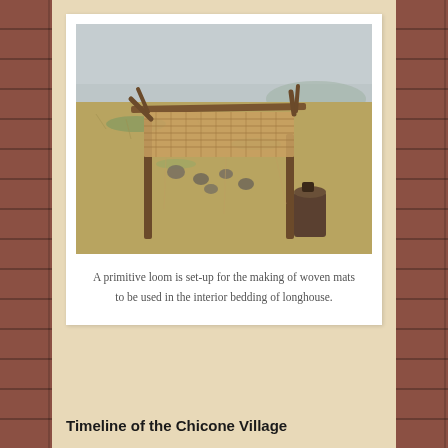[Figure (photo): A primitive wooden loom structure set up in an open grassy field on a misty day. The loom consists of vertical wooden posts with a horizontal beam across the top holding woven reed/grass matting. Several round stones are scattered on the ground. A tree stump with a small object on top sits to the right of the loom.]
A primitive loom is set-up for the making of woven mats to be used in the interior bedding of longhouse.
Timeline of the Chicone Village